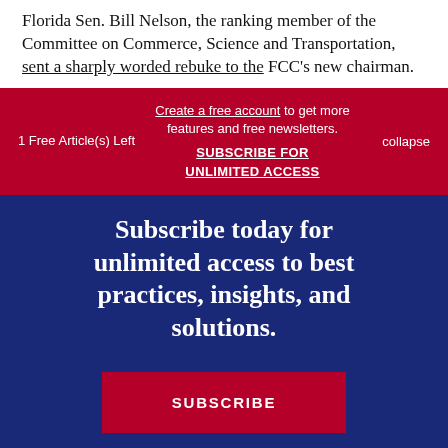Florida Sen. Bill Nelson, the ranking member of the Committee on Commerce, Science and Transportation, sent a sharply worded rebuke to the FCC's new chairman.
1 Free Article(s) Left | Create a free account to get more features and free newsletters. | SUBSCRIBE FOR UNLIMITED ACCESS | collapse
Subscribe today for unlimited access to best practices, insights, and solutions.
SUBSCRIBE